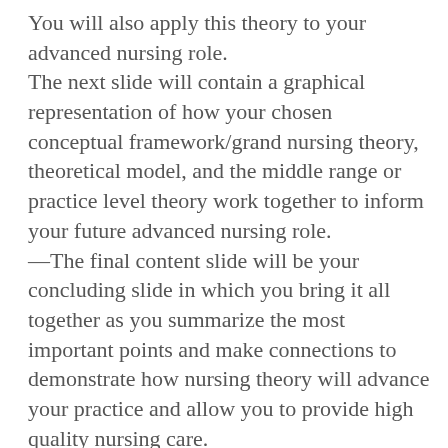You will also apply this theory to your advanced nursing role. The next slide will contain a graphical representation of how your chosen conceptual framework/grand nursing theory, theoretical model, and the middle range or practice level theory work together to inform your future advanced nursing role. —The final content slide will be your concluding slide in which you bring it all together as you summarize the most important points and make connections to demonstrate how nursing theory will advance your practice and allow you to provide high quality nursing care. The last slide will be your reference slide using APA format. During your presentation, be sure to explain why you